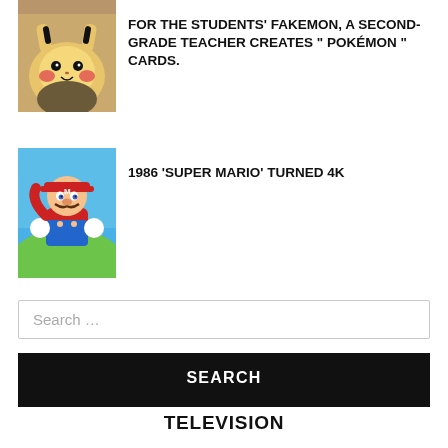[Figure (photo): Partial image of Pikachu (Detective Pikachu) cropped at top]
[Figure (photo): Detective Pikachu character image]
FOR THE STUDENTS' FAKEMON, A SECOND-GRADE TEACHER CREATES " POKÉMON " CARDS.
[Figure (photo): Super Mario character image]
1986 'SUPER MARIO' TURNED 4K
Search …
SEARCH
TELEVISION